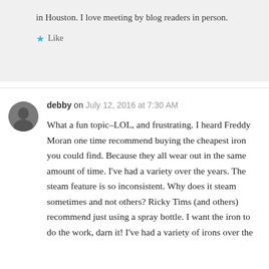in Houston. I love meeting by blog readers in person.
Like
debby on July 12, 2016 at 7:30 AM
What a fun topic–LOL, and frustrating. I heard Freddy Moran one time recommend buying the cheapest iron you could find. Because they all wear out in the same amount of time. I've had a variety over the years. The steam feature is so inconsistent. Why does it steam sometimes and not others? Ricky Tims (and others) recommend just using a spray bottle. I want the iron to do the work, darn it! I've had a variety of irons over the